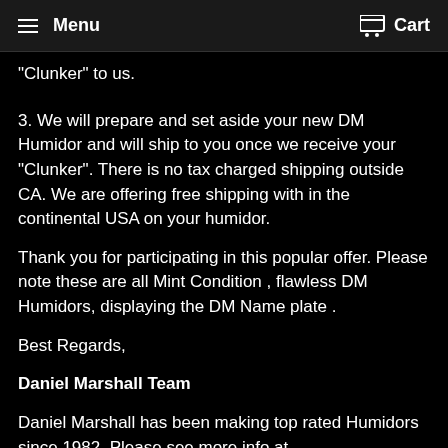Menu   Cart
"Clunker" to us.
3. We will prepare and set aside your new DM Humidor and will ship to you once we receive your "Clunker". There is no tax charged shipping outside CA. We are offering free shipping with in the continental USA on your humidor.
Thank you for participating in this popular offer. Please note these are all Mint Condition , flawless DM Humidors, displaying the DM Name plate .
Best Regards,
Daniel Marshall Team
Daniel Marshall has been making top rated Humidors since 1982. Please see more info at